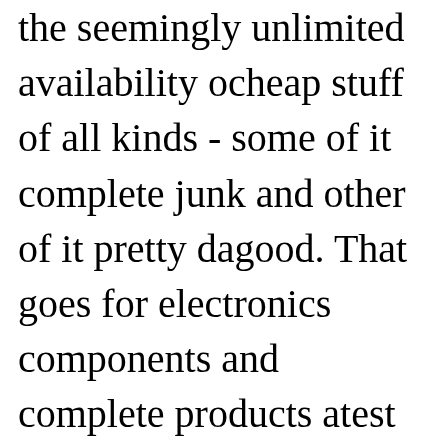the seemingly unlimited availability of cheap stuff of all kinds - some of it complete junk and other of it pretty darn good. That goes for electronics components and complete products and test equipment, tools, automobiles, appliances, and utensils, clothing, medical equipment - you name it. Something as simple as a pistol-type